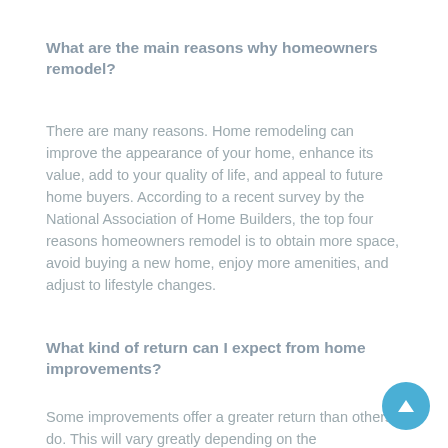What are the main reasons why homeowners remodel?
There are many reasons. Home remodeling can improve the appearance of your home, enhance its value, add to your quality of life, and appeal to future home buyers. According to a recent survey by the National Association of Home Builders, the top four reasons homeowners remodel is to obtain more space, avoid buying a new home, enjoy more amenities, and adjust to lifestyle changes.
What kind of return can I expect from home improvements?
Some improvements offer a greater return than others do. This will vary greatly depending on the